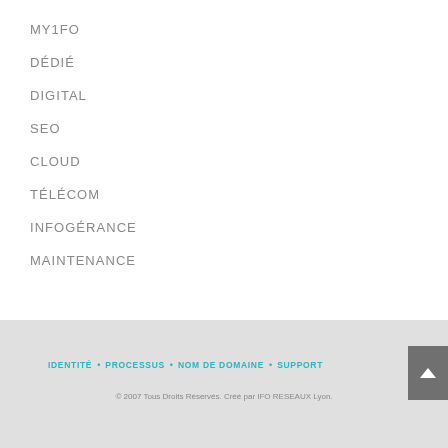MY1FO
DÉDIÉ
DIGITAL
SEO
CLOUD
TÉLÉCOM
INFOGÉRANCE
MAINTENANCE
IDENTITÉ • PROCESSUS • NOM DE DOMAINE • SUPPORT
© 2007 Tous Droits Réservés. Créé par IFO RESEAUX Lyon.